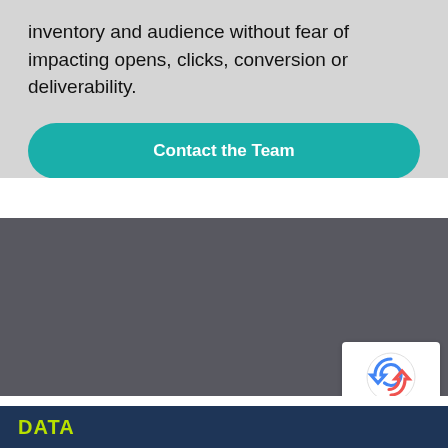inventory and audience without fear of impacting opens, clicks, conversion or deliverability.
[Figure (other): Teal rounded rectangle button labeled 'Contact the Team']
[Figure (other): Dark gray rectangular section filling the middle of the page]
[Figure (other): Google reCAPTCHA badge with recycling arrows icon and 'Privacy - Terms' text]
DATA